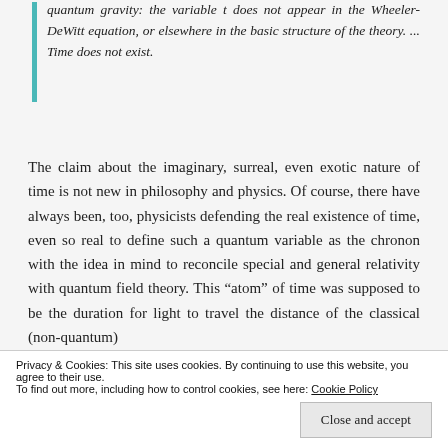quantum gravity: the variable t does not appear in the Wheeler-DeWitt equation, or elsewhere in the basic structure of the theory. ... Time does not exist.
The claim about the imaginary, surreal, even exotic nature of time is not new in philosophy and physics. Of course, there have always been, too, physicists defending the real existence of time, even so real to define such a quantum variable as the chronon with the idea in mind to reconcile special and general relativity with quantum field theory. This "atom" of time was supposed to be the duration for light to travel the distance of the classical (non-quantum)
Privacy & Cookies: This site uses cookies. By continuing to use this website, you agree to their use.
To find out more, including how to control cookies, see here: Cookie Policy
Close and accept